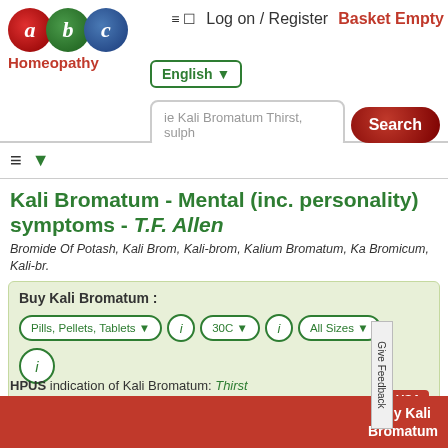abc Homeopathy | Log on / Register | Basket Empty
English ▼
ie Kali Bromatum Thirst, sulph | Search
Kali Bromatum - Mental (inc. personality) symptoms - T.F. Allen
Bromide Of Potash, Kali Brom, Kali-brom, Kalium Bromatum, Ka Bromicum, Kali-br.
Buy Kali Bromatum : Pills, Pellets, Tablets ▼  30C ▼  All Sizes ▼
Shipping USA
HPUS indication of Kali Bromatum: Thirst